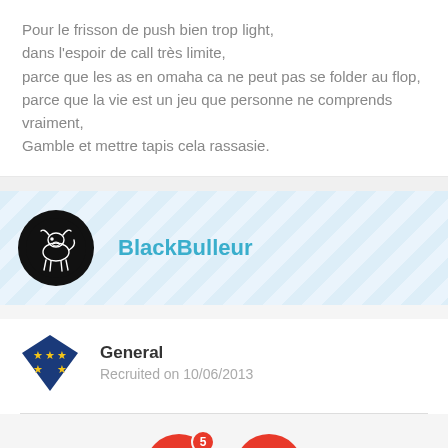Pour le frisson de push bien trop light,
dans l'espoir de call très limite,
parce que les as en omaha ca ne peut pas se folder au flop,
parce que la vie est un jeu que personne ne comprends vraiment,
Gamble et mettre tapis cela rassasie.
[Figure (illustration): User profile banner with striped light blue background, circular black avatar with white bull illustration, and username 'BlackBulleur' in teal/cyan bold text]
[Figure (illustration): Dark blue diamond/shield rank badge with yellow stars indicating 'General' rank]
General
Recruited on 10/06/2013
[Figure (infographic): Two red circular badge icons: trophy icon with number 5 badge and '.fr' label, and a checkerboard flag icon with '.fr' label]